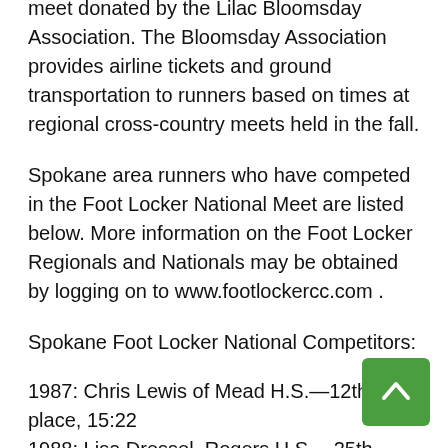meet donated by the Lilac Bloomsday Association. The Bloomsday Association provides airline tickets and ground transportation to runners based on times at regional cross-country meets held in the fall.
Spokane area runners who have competed in the Foot Locker National Meet are listed below. More information on the Foot Locker Regionals and Nationals may be obtained by logging on to www.footlockercc.com .
Spokane Foot Locker National Competitors:
1987: Chris Lewis of Mead H.S.—12th place, 15:22
1988: Lisa Dressel, Rogers H.S.—25th place, 18:43
1989: Stuart Burnham, Ferris H.S.—7th place, 15:15
Greg Kuntz, Mead H.S.—16th place, 15:31
Sarah Schwald, Mead H.S.—4th place, 17:35
Carrie Moller, Rogers H.S.—14th place, 18:14